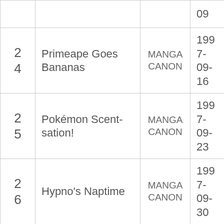| # | Title | Canon | Date |
| --- | --- | --- | --- |
|  |  |  | 09 |
| 24 | Primeape Goes Bananas | MANGA CANON | 1997-09-16 |
| 25 | Pokémon Scentsation! | MANGA CANON | 1997-09-23 |
| 26 | Hypno's Naptime | MANGA CANON | 1997-09-30 |
| 27 | Pokémon Fashion Flash | MANGA CANON | 1997-10-07 |
| 2 | The Punchy | MANGA | 1997- |